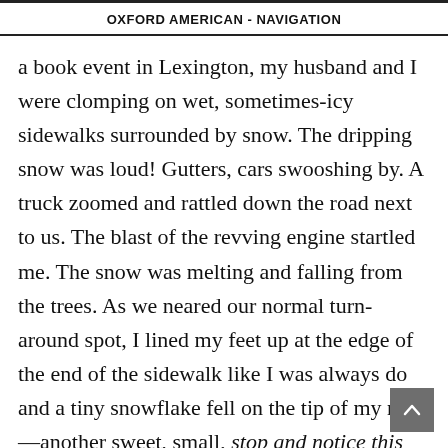OXFORD AMERICAN - NAVIGATION
a book event in Lexington, my husband and I were clomping on wet, sometimes-icy sidewalks surrounded by snow. The dripping snow was loud! Gutters, cars swooshing by. A truck zoomed and rattled down the road next to us. The blast of the revving engine startled me. The snow was melting and falling from the trees. As we neared our normal turn-around spot, I lined my feet up at the edge of the end of the sidewalk like I was always do and a tiny snowflake fell on the tip of my nose—another sweet, small, stop and notice this moment.